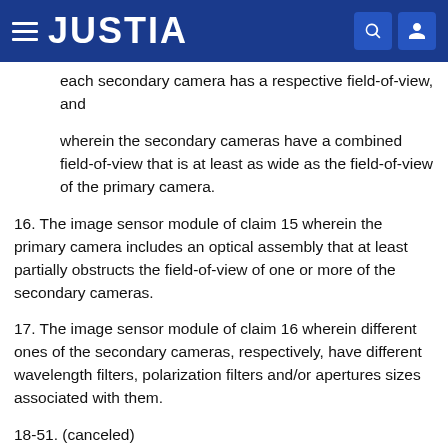JUSTIA
each secondary camera has a respective field-of-view, and
wherein the secondary cameras have a combined field-of-view that is at least as wide as the field-of-view of the primary camera.
16. The image sensor module of claim 15 wherein the primary camera includes an optical assembly that at least partially obstructs the field-of-view of one or more of the secondary cameras.
17. The image sensor module of claim 16 wherein different ones of the secondary cameras, respectively, have different wavelength filters, polarization filters and/or apertures sizes associated with them.
18-51. (canceled)